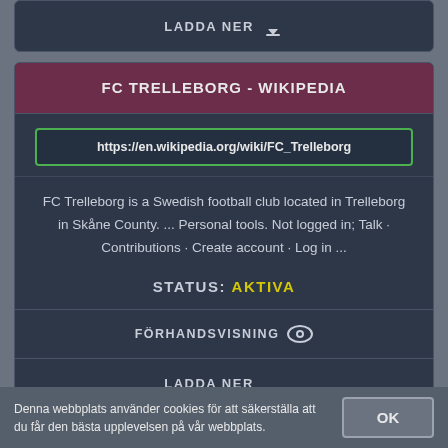[Figure (screenshot): Dark-themed card showing a LADDA NER (download) button at the top]
FC TRELLEBORG - WIKIPEDIA
https://en.wikipedia.org/wiki/FC_Trelleborg
FC Trelleborg is a Swedish football club located in Trelleborg in Skåne County. ... Personal tools. Not logged in; Talk · Contributions · Create account · Log in ...
STATUS: AKTIVA
FÖRHANDSVISNING
LADDA NER
Denna webbplats använder cookies för att säkerställa att du får den bästa upplevelsen på vår webbplats.